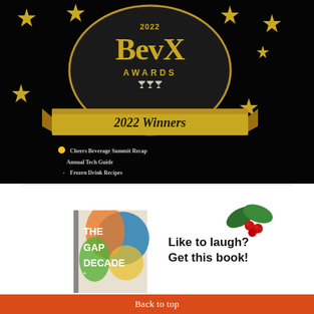[Figure (illustration): 2022 BevX Awards magazine cover with gold stars, a black and gold medallion showing '2022 BevX AWARDS' text with cocktail glass icons, a gold ribbon banner reading '2022 Winners', and a list of articles including 'Cheers Beverage Summit Recap', 'Annual Tech Guide', and 'Frozen Drink Recipes' on a dark/black background.]
[Figure (illustration): Book advertisement showing 'The Gap Decade' book cover with colorful abstract design, a holly decoration in the upper right, and the text 'Like to laugh? Get this book!']
Back to top